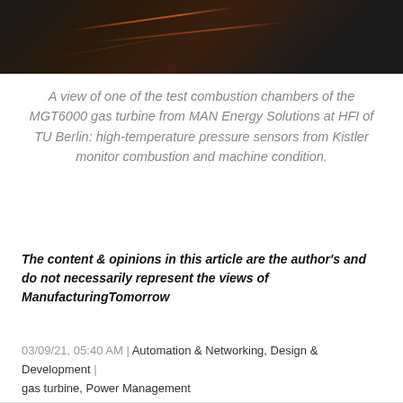[Figure (photo): Dark photo of combustion chamber showing orange/red light streaks against a black background]
A view of one of the test combustion chambers of the MGT6000 gas turbine from MAN Energy Solutions at HFI of TU Berlin: high-temperature pressure sensors from Kistler monitor combustion and machine condition.
The content & opinions in this article are the author's and do not necessarily represent the views of ManufacturingTomorrow
03/09/21, 05:40 AM | Automation & Networking, Design & Development | gas turbine, Power Management